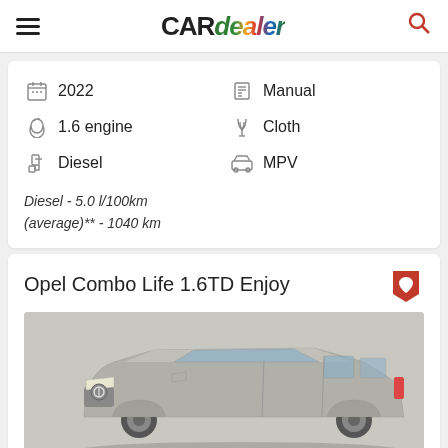CARdealer
2022
Manual
1.6 engine
Cloth
Diesel
MPV
Diesel - 5.0 l/100km (average)** - 1040 km
Opel Combo Life 1.6TD Enjoy
[Figure (photo): Silver Opel Combo Life MPV photographed from a front-three-quarter angle against a grey studio background]